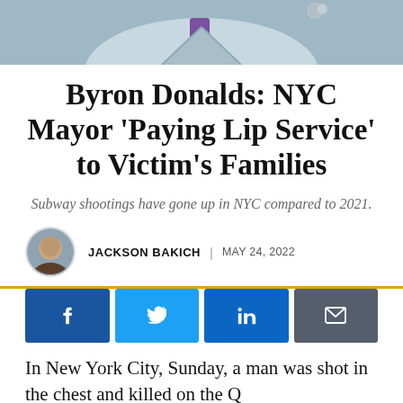[Figure (photo): Partial photo of Byron Donalds in a suit with a purple tie, cropped to show shoulders and collar area only]
Byron Donalds: NYC Mayor 'Paying Lip Service' to Victim's Families
Subway shootings have gone up in NYC compared to 2021.
JACKSON BAKICH | MAY 24, 2022
[Figure (infographic): Social sharing buttons: Facebook, Twitter, LinkedIn, Email]
In New York City, Sunday, a man was shot in the chest and killed on the Q